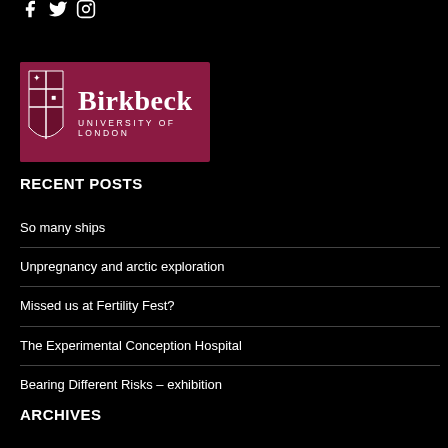[Social media icons: Facebook, Twitter, Instagram]
[Figure (logo): Birkbeck University of London logo — dark red/maroon background with shield crest and white text reading 'Birkbeck UNIVERSITY OF LONDON']
RECENT POSTS
So many ships
Unpregnancy and arctic exploration
Missed us at Fertility Fest?
The Experimental Conception Hospital
Bearing Different Risks – exhibition
ARCHIVES